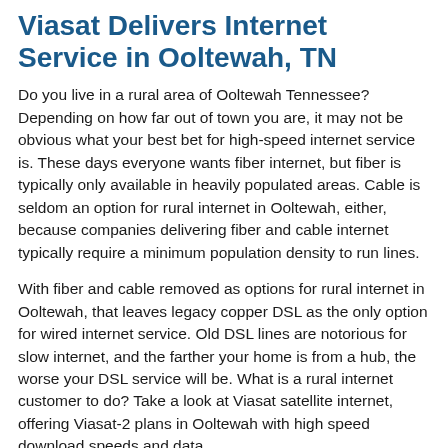Viasat Delivers Internet Service in Ooltewah, TN
Do you live in a rural area of Ooltewah Tennessee? Depending on how far out of town you are, it may not be obvious what your best bet for high-speed internet service is. These days everyone wants fiber internet, but fiber is typically only available in heavily populated areas. Cable is seldom an option for rural internet in Ooltewah, either, because companies delivering fiber and cable internet typically require a minimum population density to run lines.
With fiber and cable removed as options for rural internet in Ooltewah, that leaves legacy copper DSL as the only option for wired internet service. Old DSL lines are notorious for slow internet, and the farther your home is from a hub, the worse your DSL service will be. What is a rural internet customer to do? Take a look at Viasat satellite internet, offering Viasat-2 plans in Ooltewah with high speed download speeds and data.